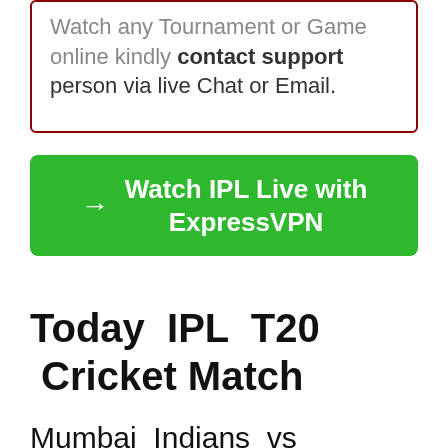Watch any Tournament or Game online kindly contact support person via live Chat or Email.
→ Watch IPL Live with ExpressVPN
Today IPL T20 Cricket Match
Mumbai Indians vs Chennai super